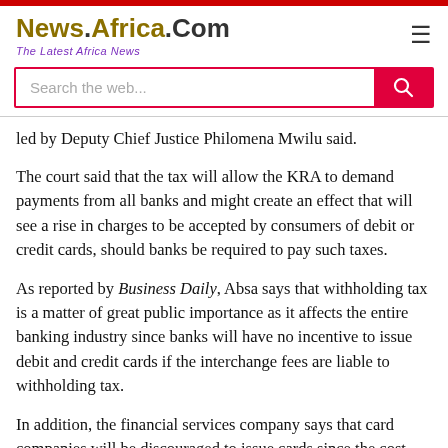[Figure (logo): News.Africa.Com logo with tagline 'The Latest Africa News']
led by Deputy Chief Justice Philomena Mwilu said.
The court said that the tax will allow the KRA to demand payments from all banks and might create an effect that will see a rise in charges to be accepted by consumers of debit or credit cards, should banks be required to pay such taxes.
As reported by Business Daily, Absa says that withholding tax is a matter of great public importance as it affects the entire banking industry since banks will have no incentive to issue debit and credit cards if the interchange fees are liable to withholding tax.
In addition, the financial services company says that card companies will be discouraged to issue cards since the cost